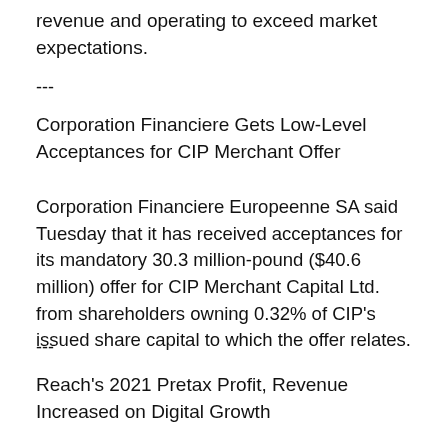revenue and operating to exceed market expectations.
---
Corporation Financiere Gets Low-Level Acceptances for CIP Merchant Offer
Corporation Financiere Europeenne SA said Tuesday that it has received acceptances for its mandatory 30.3 million-pound ($40.6 million) offer for CIP Merchant Capital Ltd. from shareholders owning 0.32% of CIP's issued share capital to which the offer relates.
---
Reach's 2021 Pretax Profit, Revenue Increased on Digital Growth